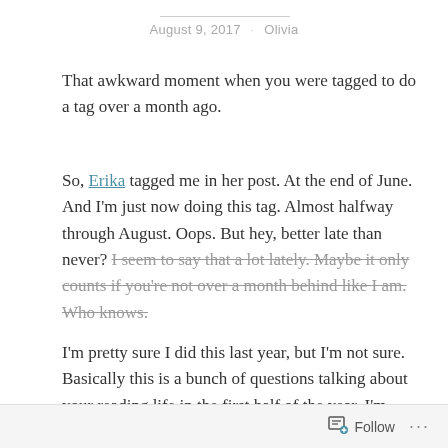August 9, 2017 · Olivia
That awkward moment when you were tagged to do a tag over a month ago.
So, Erika tagged me in her post. At the end of June. And I'm just now doing this tag. Almost halfway through August. Oops. But hey, better late than never? I seem to say that a lot lately. Maybe it only counts if you're not over a month behind like I am. Who knows.
I'm pretty sure I did this last year, but I'm not sure. Basically this is a bunch of questions talking about your reading life in the first half of the year. I'm going